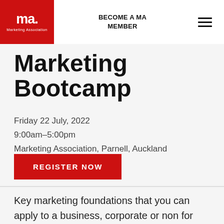BECOME A MA MEMBER
Marketing Bootcamp
Friday 22 July, 2022
9:00am–5:00pm
Marketing Association, Parnell, Auckland
REGISTER NOW
Key marketing foundations that you can apply to a business, corporate or non for profit (or perhaps just